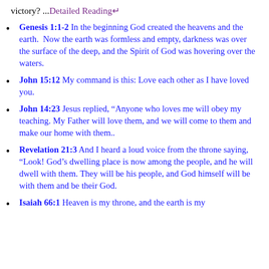victory? ...Detailed Reading→
Genesis 1:1-2 In the beginning God created the heavens and the earth. Now the earth was formless and empty, darkness was over the surface of the deep, and the Spirit of God was hovering over the waters.
John 15:12 My command is this: Love each other as I have loved you.
John 14:23 Jesus replied, “Anyone who loves me will obey my teaching. My Father will love them, and we will come to them and make our home with them..
Revelation 21:3 And I heard a loud voice from the throne saying, “Look! God’s dwelling place is now among the people, and he will dwell with them. They will be his people, and God himself will be with them and be their God.
Isaiah 66:1 Heaven is my throne, and the earth is my